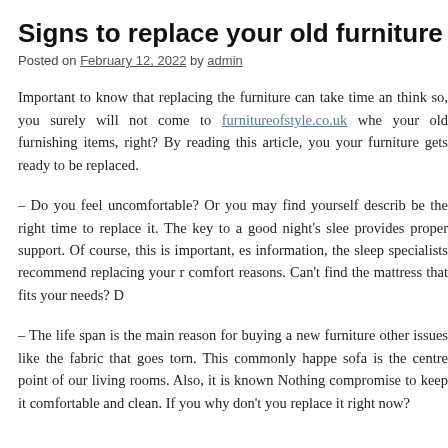Signs to replace your old furniture
Posted on February 12, 2022 by admin
Important to know that replacing the furniture can take time an think so, you surely will not come to furnitureofstyle.co.uk whe your old furnishing items, right? By reading this article, you your furniture gets ready to be replaced.
– Do you feel uncomfortable? Or you may find yourself describ be the right time to replace it. The key to a good night's slee provides proper support. Of course, this is important, es information, the sleep specialists recommend replacing your r comfort reasons. Can't find the mattress that fits your needs? D
– The life span is the main reason for buying a new furniture other issues like the fabric that goes torn. This commonly happe sofa is the centre point of our living rooms. Also, it is known Nothing compromise to keep it comfortable and clean. If you why don't you replace it right now?